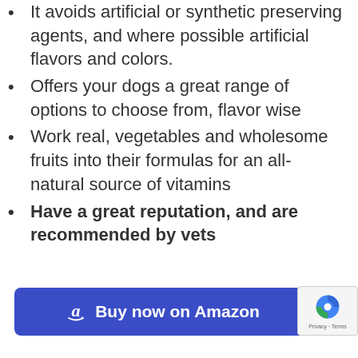It avoids artificial or synthetic preserving agents, and where possible artificial flavors and colors.
Offers your dogs a great range of options to choose from, flavor wise
Work real, vegetables and wholesome fruits into their formulas for an all-natural source of vitamins
Have a great reputation, and are recommended by vets
[Figure (other): Buy now on Amazon button with Amazon logo in blue rounded rectangle]